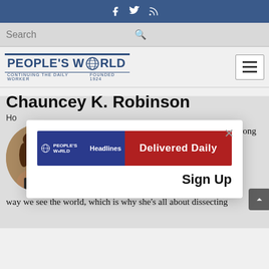Social media icons: Facebook, Twitter, RSS
Search
[Figure (logo): People's World logo with globe icon, tagline: CONTINUING THE DAILY WORKER / FOUNDED 1924]
Chauncey K. Robinson
Home
[Figure (photo): Circular profile photo of Chauncey K. Robinson]
and raised in Newark, New Jersey, she has a strong love for storytelling and history. She believes narrative greatly influences the way we see the world, which is why she's all about dissecting
[Figure (infographic): Modal popup: People's World Headlines Delivered Daily banner with Sign Up button and close X]